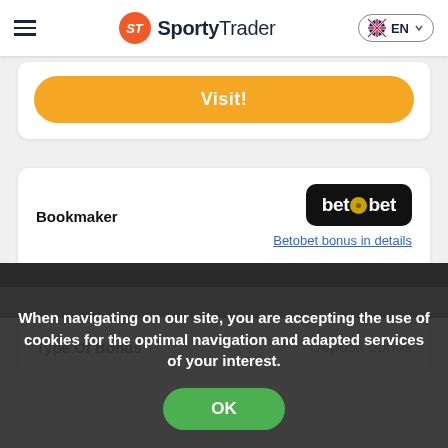SportyTrader EN
Visit!
|  |  |
| --- | --- |
| Bookmaker | Betobet logo | Betobet bonus in details |
| Bonus Up To | ₦50000 |
| Type Of Bonus | Deposit bonus |
When navigating on our site, you are accepting the use of cookies for the optimal navigation and adapted services of your interest.
OK